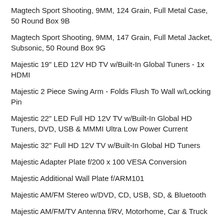Magtech Sport Shooting, 9MM, 124 Grain, Full Metal Case, 50 Round Box 9B
Magtech Sport Shooting, 9MM, 147 Grain, Full Metal Jacket, Subsonic, 50 Round Box 9G
Majestic 19" LED 12V HD TV w/Built-In Global Tuners - 1x HDMI
Majestic 2 Piece Swing Arm - Folds Flush To Wall w/Locking Pin
Majestic 22" LED Full HD 12V TV w/Built-In Global HD Tuners, DVD, USB & MMMI Ultra Low Power Current
Majestic 32" Full HD 12V TV w/Built-In Global HD Tuners
Majestic Adapter Plate f/200 x 100 VESA Conversion
Majestic Additional Wall Plate f/ARM101
Majestic AM/FM Stereo w/DVD, CD, USB, SD, & Bluetooth
Majestic AM/FM/TV Antenna f/RV, Motorhome, Car & Truck
Majestic Mast Mount Bracket f/UFO X
Majestic MPPT Solar Charge Controller - 20 Amp
Majestic MPPT Solar Charge Controller - 40 Amp